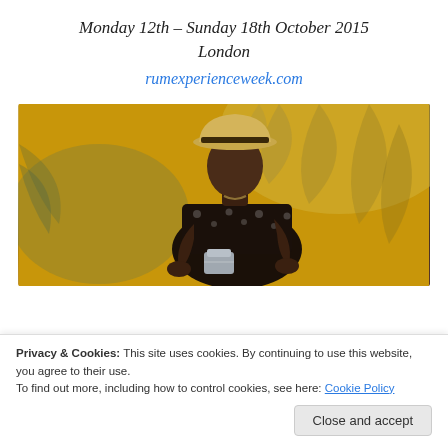Monday 12th – Sunday 18th October 2015
London
rumexperienceweek.com
[Figure (photo): A man wearing a straw fedora hat and a dark floral print shirt, looking down and handling a cocktail shaker. Background features tropical palm leaf artwork in warm golden tones.]
Privacy & Cookies: This site uses cookies. By continuing to use this website, you agree to their use.
To find out more, including how to control cookies, see here: Cookie Policy
Close and accept